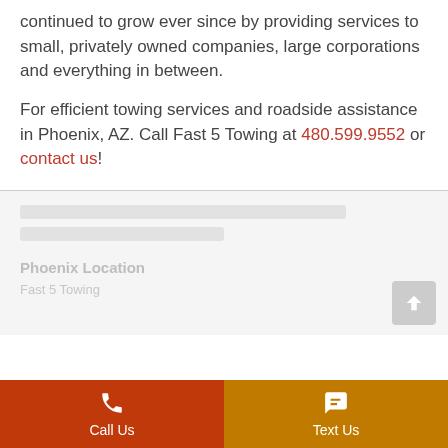continued to grow ever since by providing services to small, privately owned companies, large corporations and everything in between.
For efficient towing services and roadside assistance in Phoenix, AZ. Call Fast 5 Towing at 480.599.9552 or contact us!
Call Us | Text Us